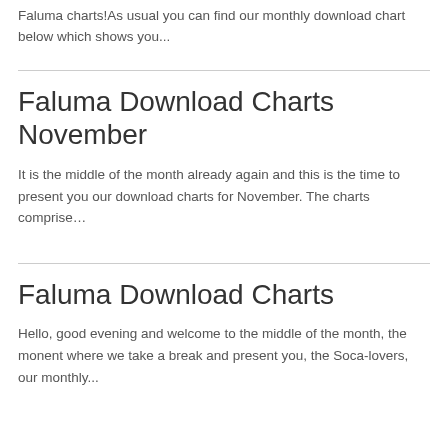Faluma charts!As usual you can find our monthly download chart below which shows you...
Faluma Download Charts November
It is the middle of the month already again and this is the time to present you our download charts for November. The charts comprise…
Faluma Download Charts
Hello, good evening and welcome to the middle of the month, the monent where we take a break and present you, the Soca-lovers, our monthly...